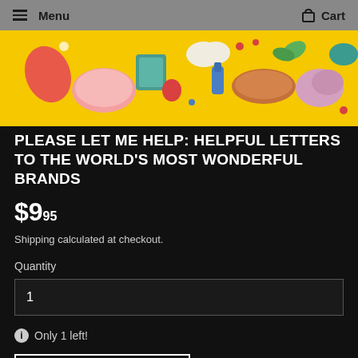Menu   Cart
[Figure (illustration): Yellow background banner with colorful cartoon food illustrations including meats, vegetables, sauces, and kitchen items scattered across the image]
PLEASE LET ME HELP: HELPFUL LETTERS TO THE WORLD'S MOST WONDERFUL BRANDS
$9.95
Shipping calculated at checkout.
Quantity
1
Only 1 left!
ADD TO CART